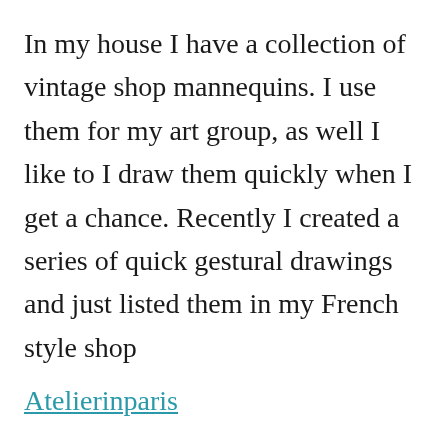In my house I have a collection of vintage shop mannequins. I use them for my art group, as well I like to I draw them quickly when I get a chance. Recently I created a series of quick gestural drawings and just listed them in my French style shop
Atelierinparis
French Mannequin 123